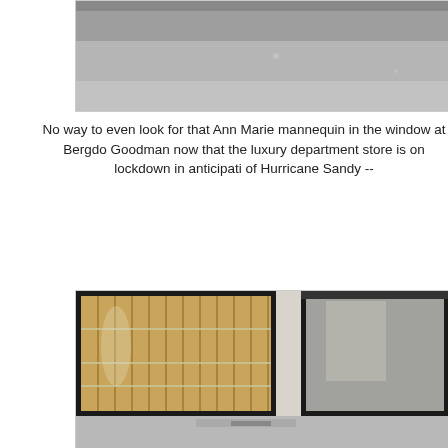[Figure (photo): Top portion of a street scene photo showing pavement/road surface in gray tones]
No way to even look for that Ann Marie mannequin in the window at Bergdo Goodman now that the luxury department store is on lockdown in anticipati of Hurricane Sandy --
[Figure (photo): Storefront of Bergdorf Goodman with windows boarded up with wood planks in anticipation of Hurricane Sandy. Black window frames visible, stone facade on the right side, sidewalk at bottom.]